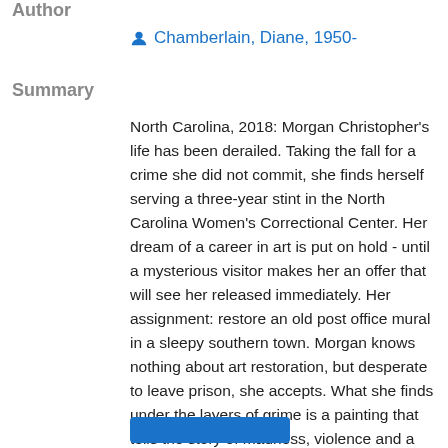Author
Chamberlain, Diane, 1950-
Summary
North Carolina, 2018: Morgan Christopher's life has been derailed. Taking the fall for a crime she did not commit, she finds herself serving a three-year stint in the North Carolina Women's Correctional Center. Her dream of a career in art is put on hold - until a mysterious visitor makes her an offer that will see her released immediately. Her assignment: restore an old post office mural in a sleepy southern town. Morgan knows nothing about art restoration, but desperate to leave prison, she accepts. What she finds under the layers of grime is a painting that tells the story of madness, violence and a conspiracy of small-town secrets. North Carolina, 1940: